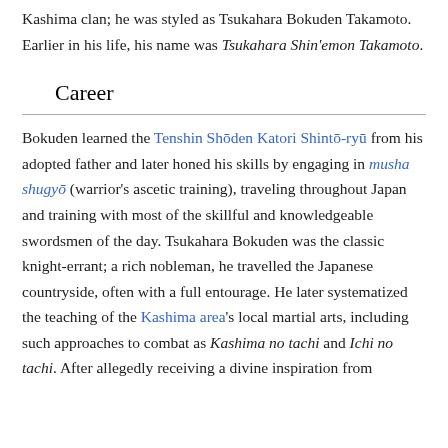Kashima clan; he was styled as Tsukahara Bokuden Takamoto. Earlier in his life, his name was Tsukahara Shin'emon Takamoto.
Career
Bokuden learned the Tenshin Shōden Katori Shintō-ryū from his adopted father and later honed his skills by engaging in musha shugyō (warrior's ascetic training), traveling throughout Japan and training with most of the skillful and knowledgeable swordsmen of the day. Tsukahara Bokuden was the classic knight-errant; a rich nobleman, he travelled the Japanese countryside, often with a full entourage. He later systematized the teaching of the Kashima area's local martial arts, including such approaches to combat as Kashima no tachi and Ichi no tachi. After allegedly receiving a divine inspiration from